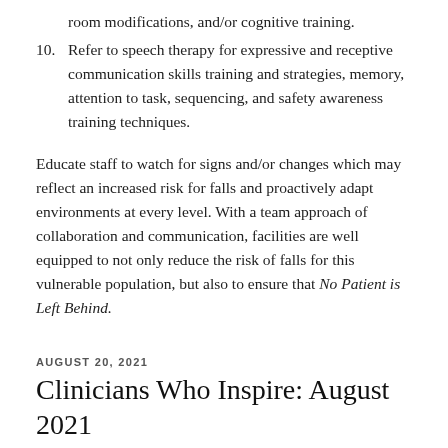room modifications, and/or cognitive training.
10. Refer to speech therapy for expressive and receptive communication skills training and strategies, memory, attention to task, sequencing, and safety awareness training techniques.
Educate staff to watch for signs and/or changes which may reflect an increased risk for falls and proactively adapt environments at every level. With a team approach of collaboration and communication, facilities are well equipped to not only reduce the risk of falls for this vulnerable population, but also to ensure that No Patient is Left Behind.
AUGUST 20, 2021
Clinicians Who Inspire: August 2021 Shannon Rasmussen